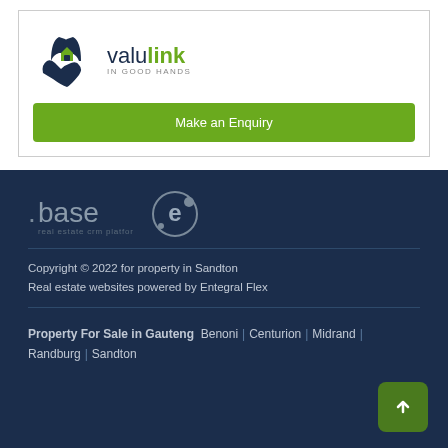[Figure (logo): Valulink logo with hands holding a house icon and green text 'valulink IN GOOD HANDS']
Make an Enquiry
[Figure (logo): Base real estate crm platform logo in muted text]
[Figure (logo): Entegral e-logo circular badge]
Copyright © 2022 for property in Sandton
Real estate websites powered by Entegral Flex
Property For Sale in Gauteng  Benoni | Centurion | Midrand | Randburg | Sandton